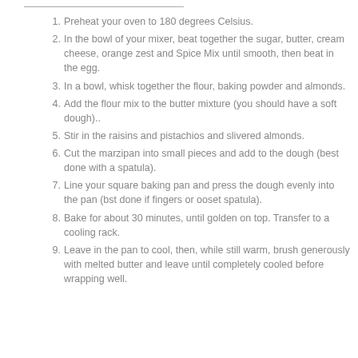Preheat your oven to 180 degrees Celsius.
In the bowl of your mixer, beat together the sugar, butter, cream cheese, orange zest and Spice Mix until smooth, then beat in the egg.
In a bowl, whisk together the flour, baking powder and almonds.
Add the flour mix to the butter mixture (you should have a soft dough)..
Stir in the raisins and pistachios and slivered almonds.
Cut the marzipan into small pieces and add to the dough (best done with a spatula).
Line your square baking pan and press the dough evenly into the pan (bst done if fingers or ooset spatula).
Bake for about 30 minutes, until golden on top. Transfer to a cooling rack.
Leave in the pan to cool, then, while still warm, brush generously with melted butter and leave until completely cooled before wrapping well.